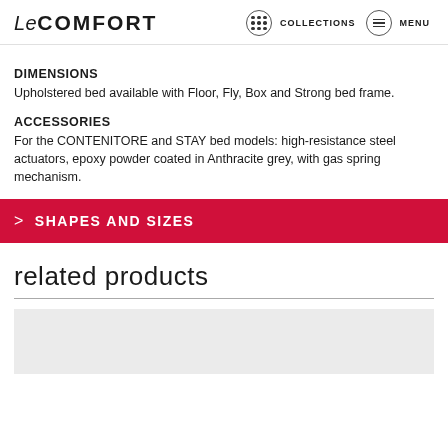Le COMFORT   COLLECTIONS   MENU
DIMENSIONS
Upholstered bed available with Floor, Fly, Box and Strong bed frame.
ACCESSORIES
For the CONTENITORE and STAY bed models: high-resistance steel actuators, epoxy powder coated in Anthracite grey, with gas spring mechanism.
> SHAPES AND SIZES
related products